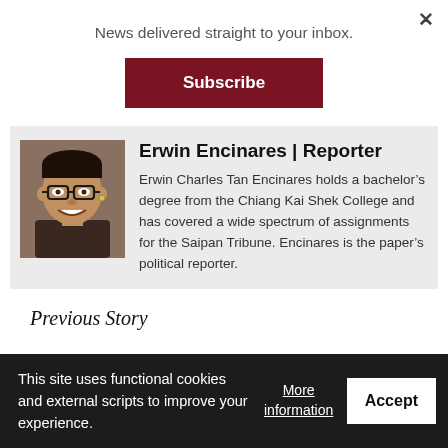News delivered straight to your inbox.
Subscribe
Erwin Encinares | Reporter
[Figure (photo): Headshot photo of Erwin Charles Tan Encinares, a young man wearing glasses and smiling]
Erwin Charles Tan Encinares holds a bachelor’s degree from the Chiang Kai Shek College and has covered a wide spectrum of assignments for the Saipan Tribune. Encinares is the paper’s political reporter.
Previous Story
This site uses functional cookies and external scripts to improve your experience.
More information
Accept